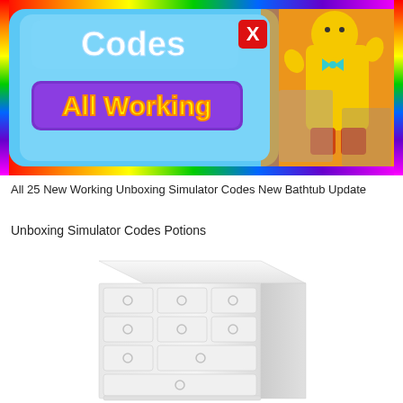[Figure (screenshot): Game thumbnail for Unboxing Simulator showing a 'Codes' dialog box with 'All Working' banner in yellow text on purple background, with an X close button in red, and a cartoon character in a yellow raincoat on the right side, all on a rainbow-bordered background.]
All 25 New Working Unboxing Simulator Codes New Bathtub Update
Unboxing Simulator Codes Potions
[Figure (illustration): A white/light-gray illustrated dresser with multiple drawers, each with circular knob handles, shown in a 3D isometric perspective against a white background.]